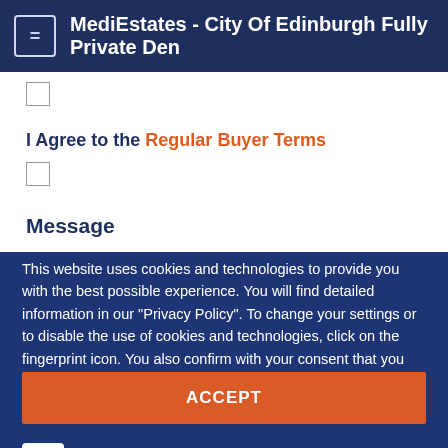MediEstates - City Of Edinburgh Fully Private Den
I Agree to the Regular Buyer Terms
Message
This website uses cookies and technologies to provide you with the best possible experience. You will find detailed information in our "Privacy Policy". To change your settings or to disable the use of cookies and technologies, click on the fingerprint icon. You also confirm with your consent that you are 16 or older.
ACCEPT
MORE